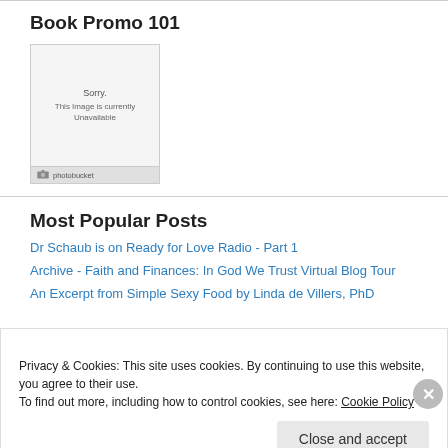Book Promo 101
[Figure (other): Photobucket image placeholder showing 'Sorry. This Image is currently Unavailable' with photobucket logo at bottom]
Most Popular Posts
Dr Schaub is on Ready for Love Radio - Part 1
Archive - Faith and Finances: In God We Trust Virtual Blog Tour
An Excerpt from Simple Sexy Food by Linda de Villers, PhD
Privacy & Cookies: This site uses cookies. By continuing to use this website, you agree to their use.
To find out more, including how to control cookies, see here: Cookie Policy
Close and accept